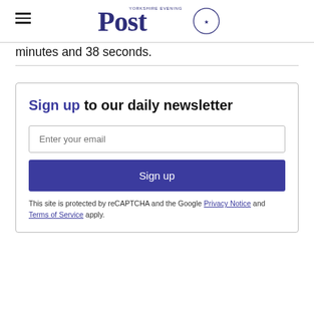Yorkshire Evening Post
minutes and 38 seconds.
Sign up to our daily newsletter
Enter your email
Sign up
This site is protected by reCAPTCHA and the Google Privacy Notice and Terms of Service apply.